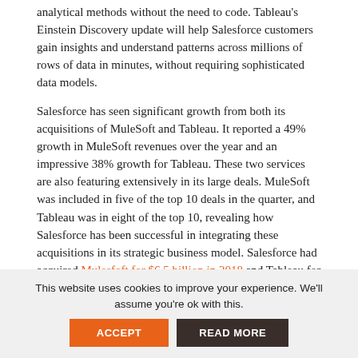analytical methods without the need to code. Tableau's Einstein Discovery update will help Salesforce customers gain insights and understand patterns across millions of rows of data in minutes, without requiring sophisticated data models.
Salesforce has seen significant growth from both its acquisitions of MuleSoft and Tableau. It reported a 49% growth in MuleSoft revenues over the year and an impressive 38% growth for Tableau. These two services are also featuring extensively in its large deals. MuleSoft was included in five of the top 10 deals in the quarter, and Tableau was in eight of the top 10, revealing how Salesforce has been successful in integrating these acquisitions in its strategic business model. Salesforce had acquired Mulesfoft for $6.5 billion in 2018 and Tableau for $15.7 billion in 2019.
Salesforce’s stock is trading at $238.10 with a market capitalization of $219.58 billion. It had touched a record high of $284.50 in August last year. The stock fell to a 52-week low of $167.00 in June last year.
Disclosure: All investors should make their own assessments based on their own research, information, interpretation and risk...
This website uses cookies to improve your experience. We’ll assume you’re ok with this.